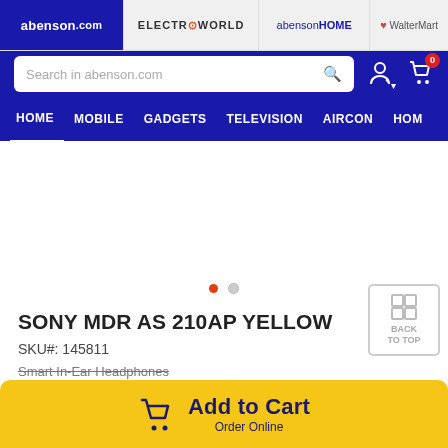[Figure (screenshot): Website header with brand tabs: abenson.com (active, dark blue), ELECTROWORLD, abensonHOME, WalterMart]
[Figure (screenshot): Search bar with placeholder 'Search in abenson.com', user icon, and shopping cart icon with 0 badge]
[Figure (screenshot): Navigation bar with items: HOME (active/underlined), MOBILE, GADGETS, TELEVISION, AIRCON, HOM...]
[Figure (screenshot): Product image area - white/blank area with two carousel dots (one orange active, one gray)]
SONY MDR AS 210AP YELLOW
SKU#: 145811
Smart In-Ear Headphones
[Figure (screenshot): Back to Top button (grid icon with 'BACK TO TOP' text)]
[Figure (screenshot): Add to Cart yellow bar with cart icon and 'Add to Cart / Order Online' text]